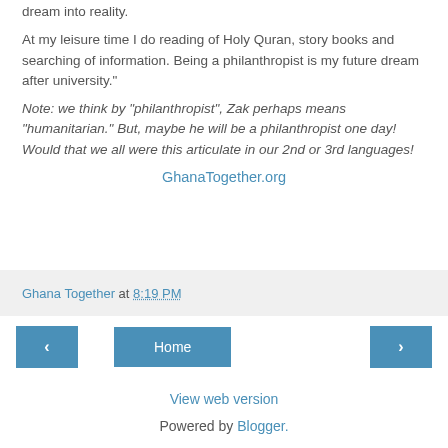dream into reality.
At my leisure time I do reading of Holy Quran, story books and searching of information. Being a philanthropist is my future dream after university."
Note: we think by "philanthropist", Zak perhaps means "humanitarian." But, maybe he will be a philanthropist one day! Would that we all were this articulate in our 2nd or 3rd languages!
GhanaTogether.org
Ghana Together at 8:19 PM
‹
Home
›
View web version
Powered by Blogger.